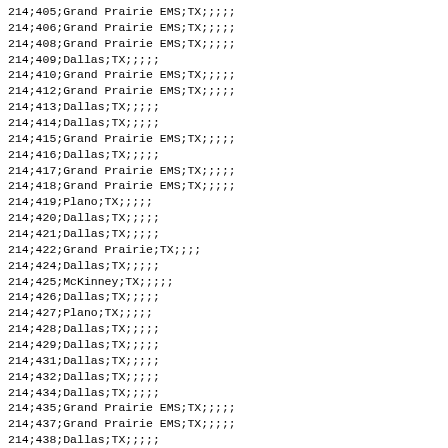214;405;Grand Prairie EMS;TX;;;;;
214;406;Grand Prairie EMS;TX;;;;;
214;408;Grand Prairie EMS;TX;;;;;
214;409;Dallas;TX;;;;;
214;410;Grand Prairie EMS;TX;;;;;
214;412;Grand Prairie EMS;TX;;;;;
214;413;Dallas;TX;;;;;
214;414;Dallas;TX;;;;;
214;415;Grand Prairie EMS;TX;;;;;
214;416;Dallas;TX;;;;;
214;417;Grand Prairie EMS;TX;;;;;
214;418;Grand Prairie EMS;TX;;;;;
214;419;Plano;TX;;;;;
214;420;Dallas;TX;;;;;
214;421;Dallas;TX;;;;;
214;422;Grand Prairie;TX;;;;
214;424;Dallas;TX;;;;;
214;425;McKinney;TX;;;;;
214;426;Dallas;TX;;;;;
214;427;Plano;TX;;;;;
214;428;Dallas;TX;;;;;
214;429;Dallas;TX;;;;;
214;431;Dallas;TX;;;;;
214;432;Dallas;TX;;;;;
214;434;Dallas;TX;;;;;
214;435;Grand Prairie EMS;TX;;;;;
214;437;Grand Prairie EMS;TX;;;;;
214;438;Dallas;TX;;;;;
214;439;Grand Prairie EMS;TX;;;;;
214;440;Plano;TX;;;;;
214;441;Dallas;TX;